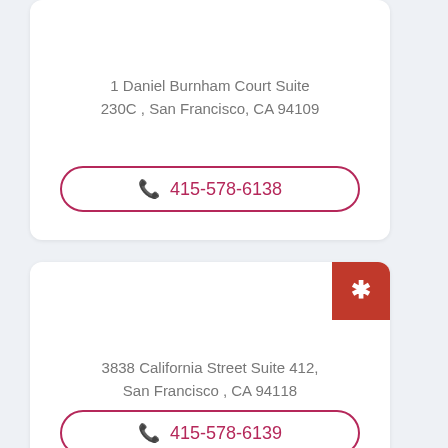1 Daniel Burnham Court Suite 230C , San Francisco, CA 94109
415-578-6138
[Figure (other): Yelp badge icon on card top-right corner]
3838 California Street Suite 412, San Francisco , CA 94118
415-578-6139